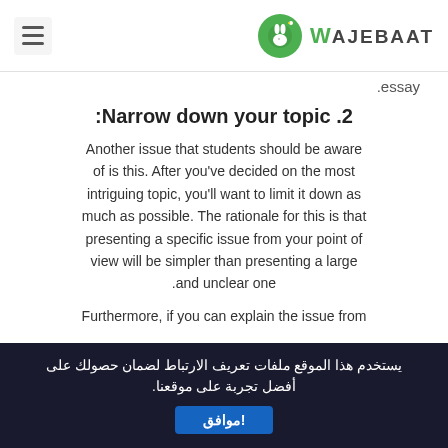WAJEBAAT
.essay
2. Narrow down your topic:
Another issue that students should be aware of is this. After you've decided on the most intriguing topic, you'll want to limit it down as much as possible. The rationale for this is that presenting a specific issue from your point of view will be simpler than presenting a large and unclear one.
Furthermore, if you can explain the issue from
يستخدم هذا الموقع ملفات تعريف الارتباط لضمان حصولك على أفضل تجربة على موقعنا. موافق!